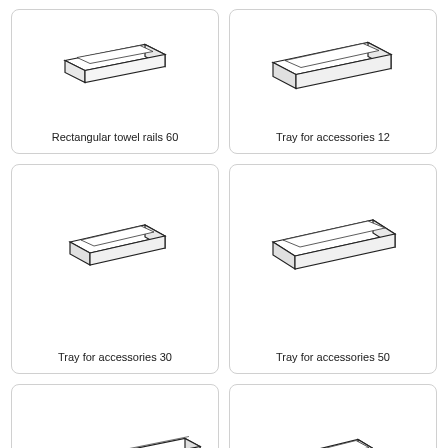[Figure (engineering-diagram): Isometric line drawing of rectangular towel rail 60 - a shallow rectangular tray/bar with thin walls]
Rectangular towel rails 60
[Figure (engineering-diagram): Isometric line drawing of Tray for accessories 12 - a shallow rectangular tray slightly larger than 30]
Tray for accessories 12
[Figure (engineering-diagram): Isometric line drawing of Tray for accessories 30 - a shallow rectangular tray]
Tray for accessories 30
[Figure (engineering-diagram): Isometric line drawing of Tray for accessories 50 - a wider shallow rectangular tray]
Tray for accessories 50
[Figure (engineering-diagram): Isometric line drawing of a long flat towel rail bar (partial, cropped at bottom)]
[Figure (engineering-diagram): Isometric line drawing of a small square tray/accessory (partial, cropped at bottom)]